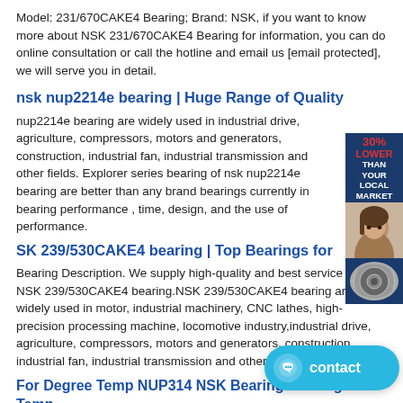Model: 231/670CAKE4 Bearing; Brand: NSK, if you want to know more about NSK 231/670CAKE4 Bearing for information, you can do online consultation or call the hotline and email us [email protected], we will serve you in detail.
nsk nup2214e bearing | Huge Range of Quality
nup2214e bearing are widely used in industrial drive, agriculture, compressors, motors and generators, construction, industrial fan, industrial transmission and other fields. Explorer series bearing of nsk nup2214e bearing are better than any brand bearings currently in bearing performance , time, design, and the use of performance.
[Figure (photo): Advertisement banner showing a woman's face with text '30% LOWER THAN YOUR LOCAL MARKET' in red and white on dark blue background, with a circular NSK bearing product image below]
SK 239/530CAKE4 bearing | Top Bearings for
Bearing Description. We supply high-quality and best service for NSK 239/530CAKE4 bearing.NSK 239/530CAKE4 bearing are widely used in motor, industrial machinery, CNC lathes, high-precision processing machine, locomotive industry,industrial drive, agriculture, compressors, motors and generators, construction, industrial fan, industrial transmission and other fields.
For Degree Temp NUP314 NSK Bearing ​For Degree Temp
Title Description Price ◇ ◇ BRI243720UU bearing IKO -BR INQUIRY [email protected] Details​Needle Roller Bearing Like Model No.: 231/670CAKE4 NSK BRI243720U IKO NUP2214E NTN 7208DT
[Figure (other): Blue contact button with chat icon and text 'contact']